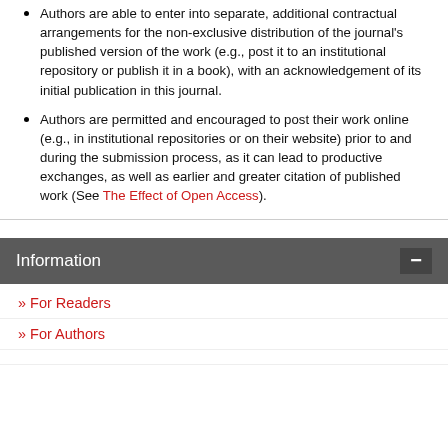Authors are able to enter into separate, additional contractual arrangements for the non-exclusive distribution of the journal's published version of the work (e.g., post it to an institutional repository or publish it in a book), with an acknowledgement of its initial publication in this journal.
Authors are permitted and encouraged to post their work online (e.g., in institutional repositories or on their website) prior to and during the submission process, as it can lead to productive exchanges, as well as earlier and greater citation of published work (See The Effect of Open Access).
Information
» For Readers
» For Authors